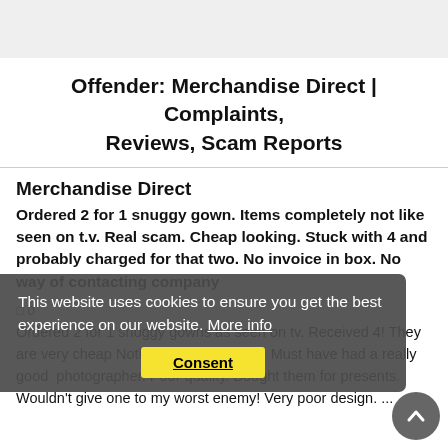Offender: Merchandise Direct | Complaints, Reviews, Scam Reports
Merchandise Direct
Ordered 2 for 1 snuggy gown. Items completely not like seen on t.v. Real scam. Cheap looking. Stuck with 4 and probably charged for that two. No invoice in box. No way of contacting company
This website uses cookies to ensure you get the best experience on our website. More info
Consent
Ordered 2 for 1 snuggy gowns as seen on tv. Received 4! They are very cheap Nothing like advertised. Must have had a really good photographer. Poor quality. Bought them for presents. Wouldn't give one to my worst enemy! Very poor design....